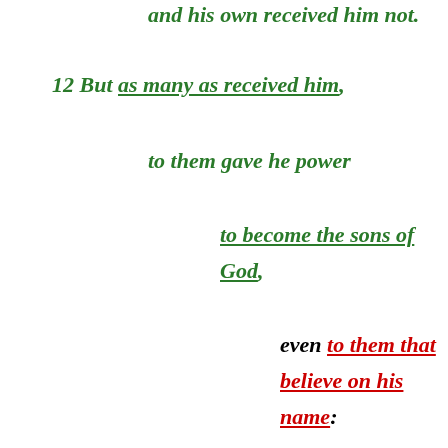and his own received him not.
12 But as many as received him,
to them gave he power
to become the sons of God,
even to them that believe on his name:
13 Which were born,
not of blood,
nor of the will of